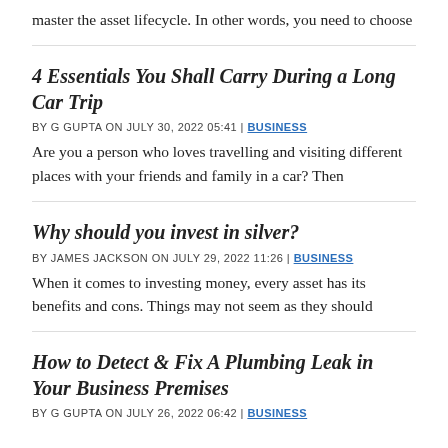master the asset lifecycle. In other words, you need to choose
4 Essentials You Shall Carry During a Long Car Trip
BY G GUPTA ON JULY 30, 2022 05:41 | BUSINESS
Are you a person who loves travelling and visiting different places with your friends and family in a car? Then
Why should you invest in silver?
BY JAMES JACKSON ON JULY 29, 2022 11:26 | BUSINESS
When it comes to investing money, every asset has its benefits and cons. Things may not seem as they should
How to Detect & Fix A Plumbing Leak in Your Business Premises
BY G GUPTA ON JULY 26, 2022 06:42 | BUSINESS